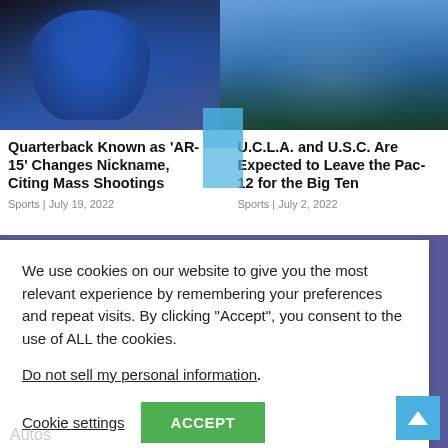[Figure (photo): Quarterback in blue jersey throwing football at night game]
[Figure (photo): Aerial view of packed UCLA stadium with fans in blue and gold]
Quarterback Known as 'AR-15' Changes Nickname, Citing Mass Shootings
Sports | July 19, 2022
U.C.L.A. and U.S.C. Are Expected to Leave the Pac-12 for the Big Ten
Sports | July 2, 2022
We use cookies on our website to give you the most relevant experience by remembering your preferences and repeat visits. By clicking “Accept”, you consent to the use of ALL the cookies.
Do not sell my personal information.
Cookie settings
ACCEPT
Autos